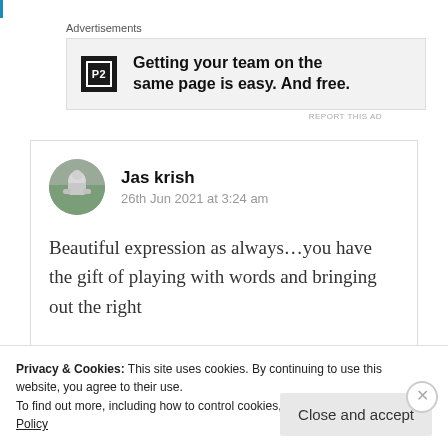Advertisements
[Figure (other): P2 advertisement banner: logo with 'P2' text and ad copy 'Getting your team on the same page is easy. And free.']
Jas krish
26th Jun 2021 at 3:24 am
Beautiful expression as always…you have the gift of playing with words and bringing out the right
Privacy & Cookies: This site uses cookies. By continuing to use this website, you agree to their use.
To find out more, including how to control cookies, see here: Cookie Policy